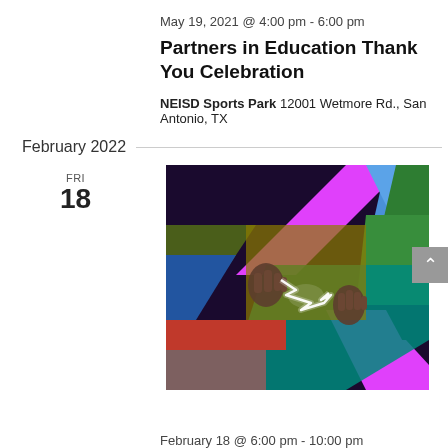May 19, 2021 @ 4:00 pm - 6:00 pm
Partners in Education Thank You Celebration
NEISD Sports Park 12001 Wetmore Rd., San Antonio, TX
February 2022
FRI
18
[Figure (illustration): Colorful abstract 3D illustration of interlocking pipes in magenta, blue, green, red, olive, and teal colors, with two hands meeting in the center with a glowing white lightning bolt or zigzag light between them.]
February 18 @ 6:00 pm - 10:00 pm